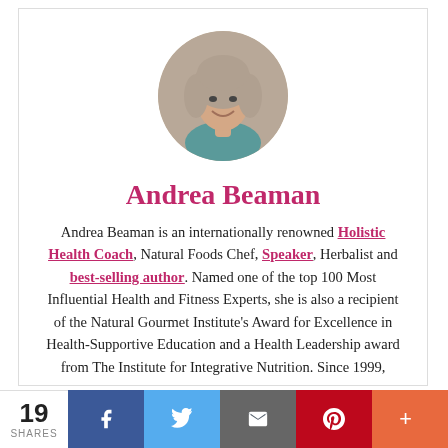[Figure (photo): Circular portrait photo of Andrea Beaman, a woman with curly gray-brown hair and a teal top, smiling]
Andrea Beaman
Andrea Beaman is an internationally renowned Holistic Health Coach, Natural Foods Chef, Speaker, Herbalist and best-selling author. Named one of the top 100 Most Influential Health and Fitness Experts, she is also a recipient of the Natural Gourmet Institute's Award for Excellence in Health-Supportive Education and a Health Leadership award from The Institute for Integrative Nutrition. Since 1999,
19 SHARES | Facebook | Twitter | Email | Pinterest | More